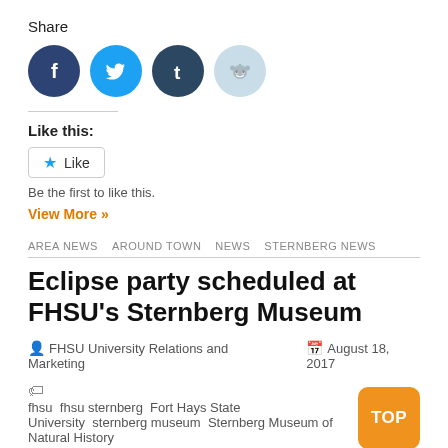Share
[Figure (illustration): Social media share icons: Facebook (dark blue), Twitter (light blue), Tumblr (dark blue), Reddit (light blue/grey)]
Like this:
Like
Be the first to like this.
View More »
AREA NEWS  AROUND TOWN  NEWS  STERNBERG NEWS
Eclipse party scheduled at FHSU's Sternberg Museum
FHSU University Relations and Marketing   August 18, 2017
fhsu  fhsu sternberg  Fort Hays State University  sternberg museum  Sternberg Museum of Natural History
Courtesy of FHSU University Relations and Marketing HAYS, Kan. – Total eclipse 2017 will be a participatory sport, and Fort